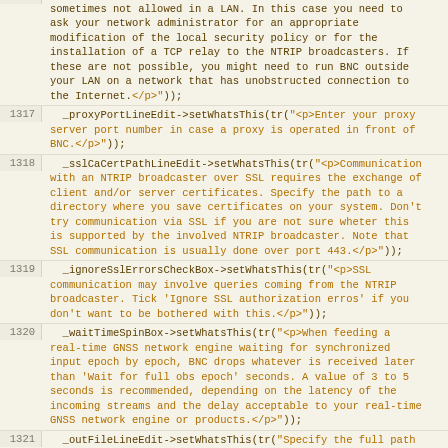sometimes not allowed in a LAN. In this case you need to ask your network administrator for an appropriate modification of the local security policy or for the installation of a TCP relay to the NTRIP broadcasters. If these are not possible, you might need to run BNC outside your LAN on a network that has unobstructed connection to the Internet.</p>"));
1317    _proxyPortLineEdit->setWhatsThis(tr("<p>Enter your proxy server port number in case a proxy is operated in front of BNC.</p>"));
1318    _sslCaCertPathLineEdit->setWhatsThis(tr("<p>Communication with an NTRIP broadcaster over SSL requires the exchange of client and/or server certificates. Specify the path to a directory where you save certificates on your system. Don't try communication via SSL if you are not sure wheter this is supported by the involved NTRIP broadcaster. Note that SSL communication is usually done over port 443.</p>"));
1319    _ignoreSslErrorsCheckBox->setWhatsThis(tr("<p>SSL communication may involve queries coming from the NTRIP broadcaster. Tick 'Ignore SSL authorization erros' if you don't want to be bothered with this.</p>"));
1320    _waitTimeSpinBox->setWhatsThis(tr("<p>When feeding a real-time GNSS network engine waiting for synchronized input epoch by epoch, BNC drops whatever is received later than 'Wait for full obs epoch' seconds. A value of 3 to 5 seconds is recommended, depending on the latency of the incoming streams and the delay acceptable to your real-time GNSS network engine or products.</p>"));
1321    _outFileLineEdit->setWhatsThis(tr("Specify the full path to a file where synchronized observations are saved in plain ASCII format. Beware that the size of this file can rapidly increase depending on the number of incoming streams."));
1322    _outPortLineEdit->setWhatsThis(tr("BNC can produce